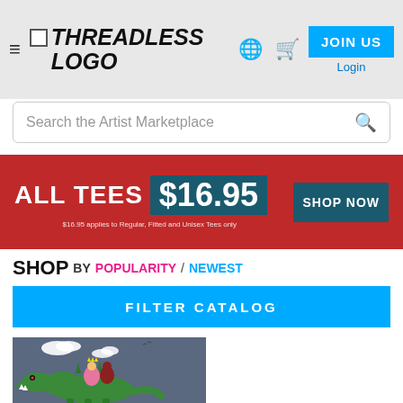[Figure (logo): Threadless logo with hamburger menu, globe icon, cart icon, JOIN US button and Login link in header navigation]
Search the Artist Marketplace
[Figure (infographic): Red promotional banner: ALL TEES $16.95 SHOP NOW. Fine print: $16.95 applies to Regular, Fitted and Unisex Tees only]
SHOP BY POPULARITY / NEWEST
FILTER CATALOG
[Figure (illustration): T-shirt design showing a knight and princess riding a green T-Rex dinosaur against a grey sky with white clouds and birds]